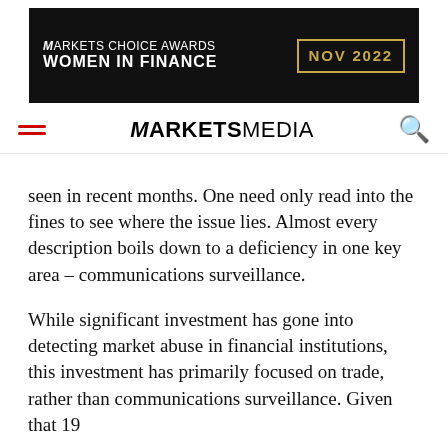[Figure (logo): Markets Choice Awards Women in Finance NOV 2022 banner advertisement on black background with gold border date box]
MARKETS MEDIA (logo with hamburger menu and search icon)
seen in recent months. One need only read into the fines to see where the issue lies. Almost every description boils down to a deficiency in one key area – communications surveillance.
While significant investment has gone into detecting market abuse in financial institutions, this investment has primarily focused on trade, rather than communications surveillance. Given that 19